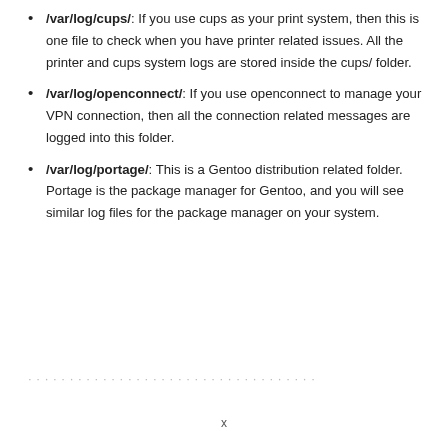/var/log/cups/: If you use cups as your print system, then this is one file to check when you have printer related issues. All the printer and cups system logs are stored inside the cups/ folder.
/var/log/openconnect/: If you use openconnect to manage your VPN connection, then all the connection related messages are logged into this folder.
/var/log/portage/: This is a Gentoo distribution related folder. Portage is the package manager for Gentoo, and you will see similar log files for the package manager on your system.
…
x